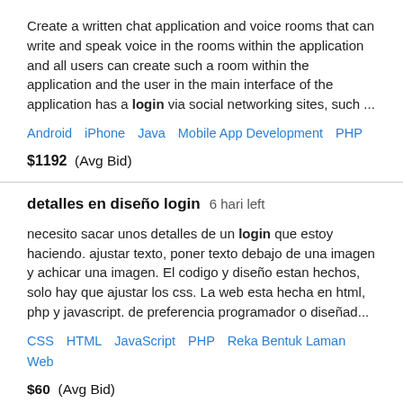Create a written chat application and voice rooms that can write and speak voice in the rooms within the application and all users can create such a room within the application and the user in the main interface of the application has a login via social networking sites, such ...
Android   iPhone   Java   Mobile App Development   PHP
$1192  (Avg Bid)
detalles en diseño login  6 hari left
necesito sacar unos detalles de un login que estoy haciendo. ajustar texto, poner texto debajo de una imagen y achicar una imagen. El codigo y diseño estan hechos, solo hay que ajustar los css. La web esta hecha en html, php y javascript. de preferencia programador o diseñad...
CSS   HTML   JavaScript   PHP   Reka Bentuk Laman Web
$60  (Avg Bid)